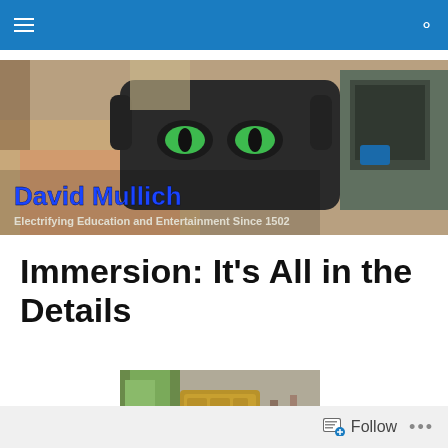Navigation bar with hamburger menu and search icon
[Figure (photo): Banner photo of a person wearing a VR headset with cat eyes design and headphones, with text 'David Mullich – Electrifying Education and Entertainment Since 1502' overlaid in blue and white]
Immersion: It's All in the Details
[Figure (photo): Photo of a golden/yellow outdoor waste bin with 'PUSH WASTE' text on it, set on a street with greenery and people in background]
Follow •••